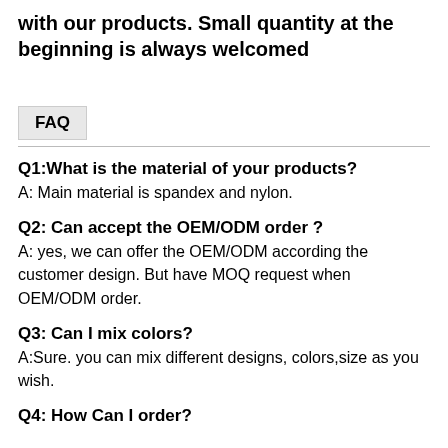with our products. Small quantity at the beginning is always welcomed
FAQ
Q1:What is the material of your products?
A: Main material is spandex and nylon.
Q2: Can accept the OEM/ODM order ?
A: yes, we can offer the OEM/ODM according the customer design. But have MOQ request when OEM/ODM order.
Q3: Can I mix colors?
A:Sure. you can mix different designs, colors,size as you wish.
Q4: How Can I order?